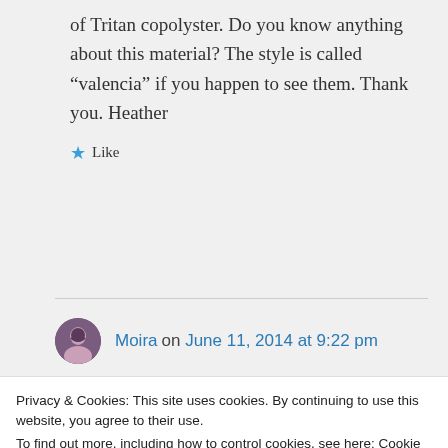of Tritan copolyster. Do you know anything about this material? The style is called “valencia” if you happen to see them. Thank you. Heather
★ Like
Moira on June 11, 2014 at 9:22 pm
Privacy & Cookies: This site uses cookies. By continuing to use this website, you agree to their use.
To find out more, including how to control cookies, see here: Cookie Policy
Close and accept